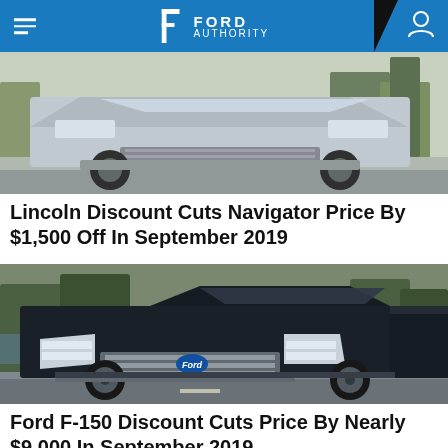Ford Authority
[Figure (photo): Front view of a silver Lincoln Navigator SUV on a road with trees in background]
Lincoln Discount Cuts Navigator Price By $1,500 Off In September 2019
[Figure (photo): Dark colored Ford F-150 pickup truck driving on a road with trees and water in background]
Ford F-150 Discount Cuts Price By Nearly $9,000 In September 2019